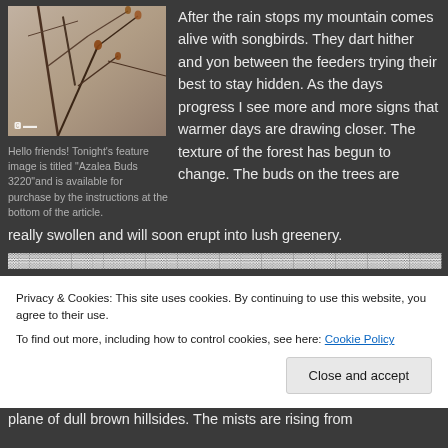[Figure (photo): Close-up photo of azalea buds on branches, titled 'Azalea Buds 3220', with photographer watermark in bottom-left corner. Background shows blurred brown/beige tones with dark branch silhouettes and small orange-brown buds.]
Hello friends! Tonight's feature image is titled "Azalea Buds 3220"and is available for purchase by the instructions at the bottom of the article.
After the rain stops my mountain comes alive with songbirds. They dart hither and yon between the feeders trying their best to stay hidden. As the days progress I see more and more signs that warmer days are drawing closer. The texture of the forest has begun to change. The buds on the trees are really swollen and will soon erupt into lush greenery.
plane of dull brown hillsides. The mists are rising from
Privacy & Cookies: This site uses cookies. By continuing to use this website, you agree to their use.
To find out more, including how to control cookies, see here: Cookie Policy